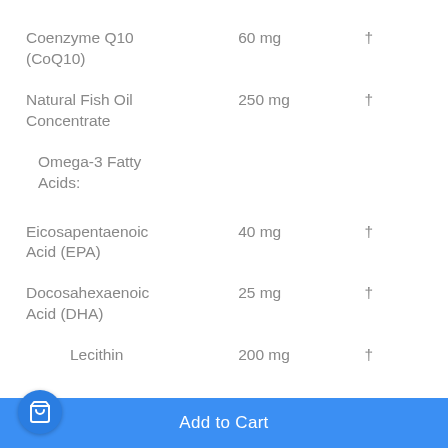| Ingredient | Amount | Daily Value |
| --- | --- | --- |
| Coenzyme Q10 (CoQ10) | 60 mg | † |
| Natural Fish Oil Concentrate | 250 mg | † |
|    Omega-3 Fatty Acids: |  |  |
| Eicosapentaenoic Acid (EPA) | 40 mg | † |
| Docosahexaenoic Acid (DHA) | 25 mg | † |
| Lecithin | 200 mg | † |
Add to Cart